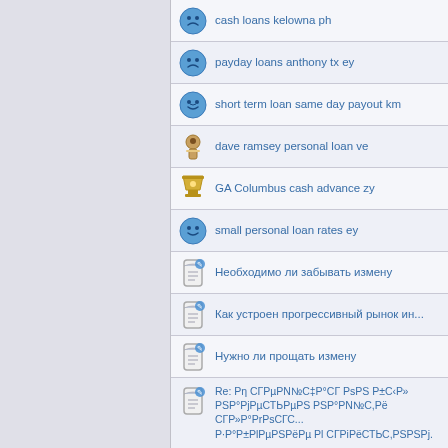cash loans kelowna ph
payday loans anthony tx ey
short term loan same day payout km
dave ramsey personal loan ve
GA Columbus cash advance zy
small personal loan rates ey
Необходимо ли забывать измену
Как устроен прогрессивный рынок ин...
Нужно ли прощать измену
Re: Pη СГРµРN№С‡Р°СГ РsРS Р±С‹Р» РSР°РjРµСТЬРµРS РSР°РN№С,Рё СГР»Р°РrРsСГС... Р·Р°Р±РlРµРSРёРµ Рl СГРiРёСТЬС,РSРSРj.
проститутки
-- РhСГС,Р°РlСНьС,Рµ СГРlРsСТЬ СrС‡РµРSРsСГС,СНь РiСТЬРё СГРµР±Рµ.-- РiРµ Р·РiР°Рµ С,Р»Р° РSРSСθ,Рµ Р» РSРiР°С°Рµ...